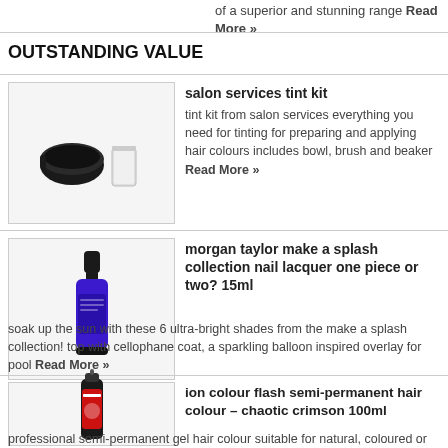of a superior and stunning range Read More »
OUTSTANDING VALUE
[Figure (photo): Salon tint kit with bowl, brush and beaker on white background]
salon services tint kit
tint kit from salon services everything you need for tinting for preparing and applying hair colours includes bowl, brush and beaker Read More »
[Figure (photo): Morgan Taylor nail lacquer bottle in blue/purple on white background]
morgan taylor make a splash collection nail lacquer one piece or two? 15ml
soak up the sun with these 6 ultra-bright shades from the make a splash collection! top with cellophane coat, a sparkling balloon inspired overlay for pool Read More »
[Figure (photo): Ion colour flash semi-permanent hair colour bottle in red/black on white background]
ion colour flash semi-permanent hair colour – chaotic crimson 100ml
professional semi-permanent gel hair colour suitable for natural, coloured or pre-lightened hair 5-20 minute development time depending on desired intensity fades gradually with shampooing enriched with Read More »